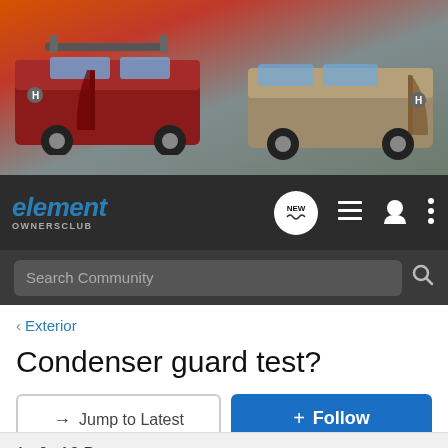[Figure (photo): Honda Element promotional banner showing two Honda Element SUVs on a beach, one red/dark and one tan/silver, with doors open and surfboard visible]
element OWNERSCLUB
Search Community
< Exterior
Condenser guard test?
→ Jump to Latest
+ Follow
1 - 9 of 9 Posts
jetblast10 · Registered
Joined May 12, 2007 · 75 Posts